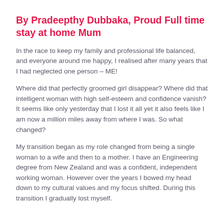By Pradeepthy Dubbaka, Proud Full time stay at home Mum
In the race to keep my family and professional life balanced, and everyone around me happy, I realised after many years that I had neglected one person – ME!
Where did that perfectly groomed girl disappear? Where did that intelligent woman with high self-esteem and confidence vanish? It seems like only yesterday that I lost it all yet it also feels like I am now a million miles away from where I was. So what changed?
My transition began as my role changed from being a single woman to a wife and then to a mother. I have an Engineering degree from New Zealand and was a confident, independent working woman. However over the years I bowed my head down to my cultural values and my focus shifted. During this transition I gradually lost myself.